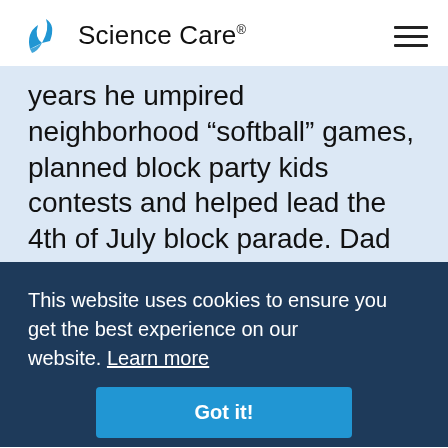Science Care
years he umpired neighborhood “softball” games, planned block party kids contests and helped lead the 4th of July block parade. Dad created many cherished memories as the family photographer and meticulously planned and chronicled many wonderful family road vacations to California, Florida, Yellowstone National Parks. Family will fondly remember the infamous red sweater which he included in many scenic photos to “improve the color” of his slides (or
This website uses cookies to ensure you get the best experience on our website. Learn more
Got it!